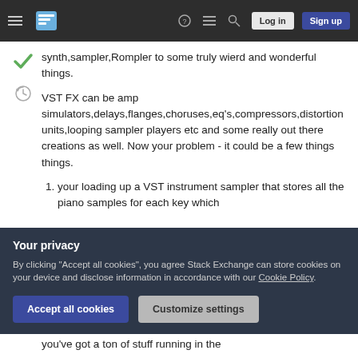Stack Exchange navigation bar with hamburger menu, logo, help, chat, search icons, Log in and Sign up buttons
synth,sampler,Rompler to some truly wierd and wonderful things.
VST FX can be amp simulators,delays,flanges,choruses,eq's,compressors,distortion units,looping sampler players etc and some really out there creations as well. Now your problem - it could be a few things things.
1. your loading up a VST instrument sampler that stores all the piano samples for each key which
Your privacy
By clicking "Accept all cookies", you agree Stack Exchange can store cookies on your device and disclose information in accordance with our Cookie Policy.
Accept all cookies   Customize settings
you've got a ton of stuff running in the